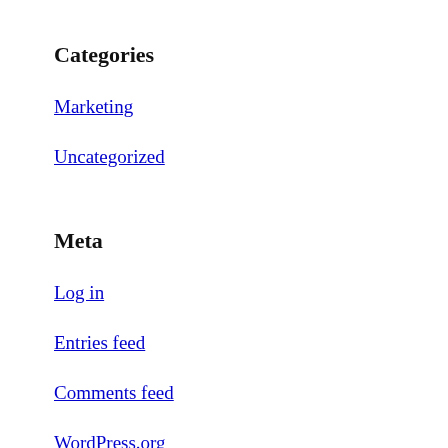Categories
Marketing
Uncategorized
Meta
Log in
Entries feed
Comments feed
WordPress.org